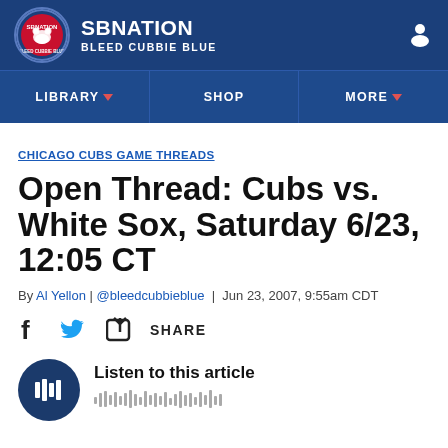SB NATION BLEED CUBBIE BLUE
LIBRARY   SHOP   MORE
CHICAGO CUBS GAME THREADS
Open Thread: Cubs vs. White Sox, Saturday 6/23, 12:05 CT
By Al Yellon | @bleedcubbieblue | Jun 23, 2007, 9:55am CDT
SHARE
Listen to this article